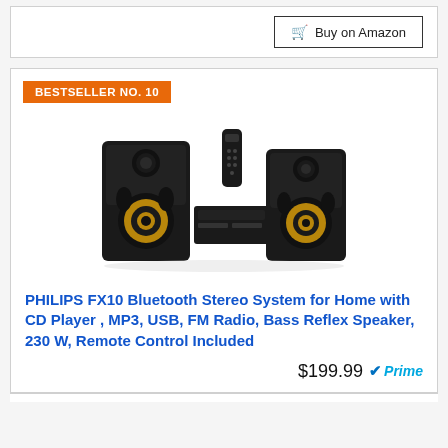Buy on Amazon
BESTSELLER NO. 10
[Figure (photo): Philips FX10 Bluetooth Stereo System showing two black speakers with gold woofers and a center unit with remote control]
PHILIPS FX10 Bluetooth Stereo System for Home with CD Player , MP3, USB, FM Radio, Bass Reflex Speaker, 230 W, Remote Control Included
$199.99 Prime